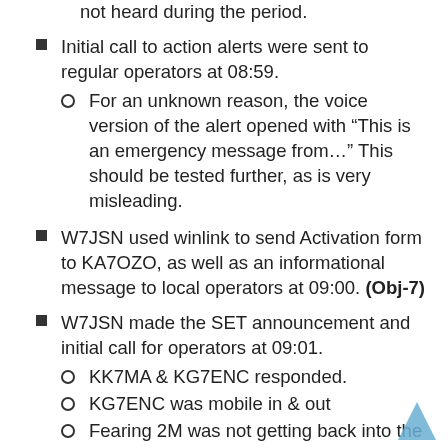not heard during the period.
Initial call to action alerts were sent to regular operators at 08:59.
For an unknown reason, the voice version of the alert opened with “This is an emergency message from…” This should be tested further, as is very misleading.
W7JSN used winlink to send Activation form to KA7OZO, as well as an informational message to local operators at 09:00. (Obj-7)
W7JSN made the SET announcement and initial call for operators at 09:01.
KK7MA & KG7ENC responded.
KG7ENC was mobile in & out
Fearing 2M was not getting back into the valley for local operators, KK7MA was sent to call local operators on 3.955. No